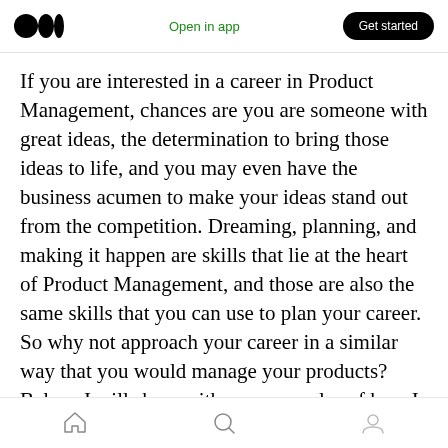Open in app  Get started
If you are interested in a career in Product Management, chances are you are someone with great ideas, the determination to bring those ideas to life, and you may even have the business acumen to make your ideas stand out from the competition. Dreaming, planning, and making it happen are skills that lie at the heart of Product Management, and those are also the same skills that you can use to plan your career. So why not approach your career in a similar way that you would manage your products? Below, I will share with you examples of how I planned out the first